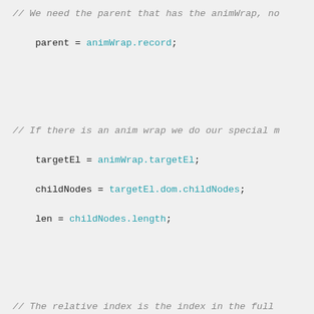[Figure (screenshot): Source code screenshot showing JavaScript code with syntax highlighting. Comments in gray italic, keywords in bold black, identifiers/methods in cyan and red, on a light gray background.]